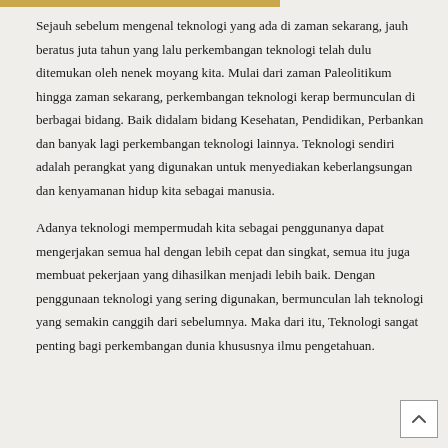Sejauh sebelum mengenal teknologi yang ada di zaman sekarang, jauh beratus juta tahun yang lalu perkembangan teknologi telah dulu ditemukan oleh nenek moyang kita. Mulai dari zaman Paleolitikum hingga zaman sekarang, perkembangan teknologi kerap bermunculan di berbagai bidang. Baik didalam bidang Kesehatan, Pendidikan, Perbankan dan banyak lagi perkembangan teknologi lainnya. Teknologi sendiri adalah perangkat yang digunakan untuk menyediakan keberlangsungan dan kenyamanan hidup kita sebagai manusia.
Adanya teknologi mempermudah kita sebagai penggunanya dapat mengerjakan semua hal dengan lebih cepat dan singkat, semua itu juga membuat pekerjaan yang dihasilkan menjadi lebih baik. Dengan penggunaan teknologi yang sering digunakan, bermunculan lah teknologi yang semakin canggih dari sebelumnya. Maka dari itu, Teknologi sangat penting bagi perkembangan dunia khususnya ilmu pengetahuan.